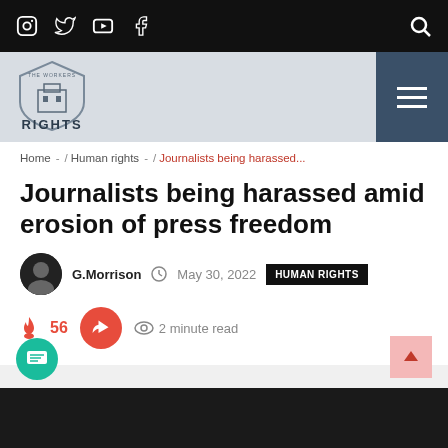Social icons: Instagram, Twitter, YouTube, Facebook | Search
[Figure (logo): The Workers Rights logo — shield with building icon and text RIGHTS]
Home - / Human rights - / Journalists being harassed...
Journalists being harassed amid erosion of press freedom
G.Morrison  May 30, 2022  HUMAN RIGHTS
56  2 minute read